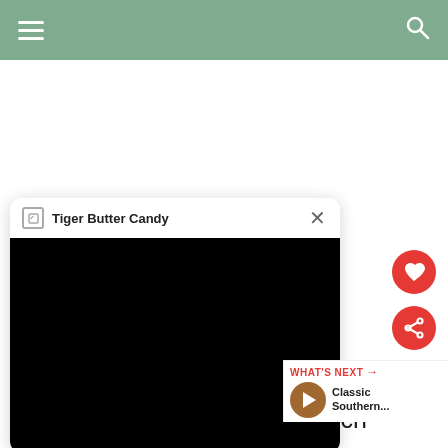Tiger Butter Candy
egg and egg dd salt and 1 cup ding flour 1/2 cup omes to floured surface to 1/8 inch deep. Cut into 1-inch strips.
[Figure (screenshot): Video popup overlay with title 'Tiger Butter Candy', close button, and black video thumbnail]
[Figure (infographic): Red heart button and red share button on right side]
WHAT'S NEXT
Classic Southern...